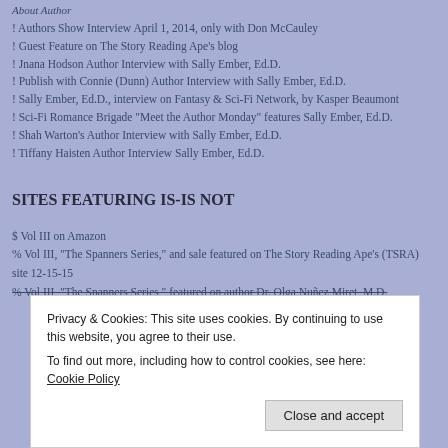About Author
! Authors Show Interview April 1, 2014, only with Don McCauley
! Guest Feature on The Story Reading Ape's blog
! Jnana Hodson Author Interview with Sally Ember, Ed.D.
! Publish with Connie (Dunn) Author Interview with Sally Ember, Ed.D.
! Sally Ember, Ed.D., interview on Fantasy & Sci-Fi Network, by Kasper Beaumont
! Sci-Fi Romance Brigade "Meet the Author Monday" features Sally Ember, Ed.D.
! Shah Warton's Author Interview with Sally Ember, Ed.D.
! Tiffany Haisten Author Interview Sally Ember, Ed.D.
SITES FEATURING IS-IS NOT
$ Vol III on Amazon
% Vol III, "The Spanners Series," and sale featured on The Story Reading Ape's (TSRA) site 12-15-15
% Vol III, "The Spanners Series," featured on author Dr. Olga Nuñez Miret, M.D.
Privacy & Cookies: This site uses cookies. By continuing to use this website, you agree to their use.
To find out more, including how to control cookies, see here: Cookie Policy
Close and accept